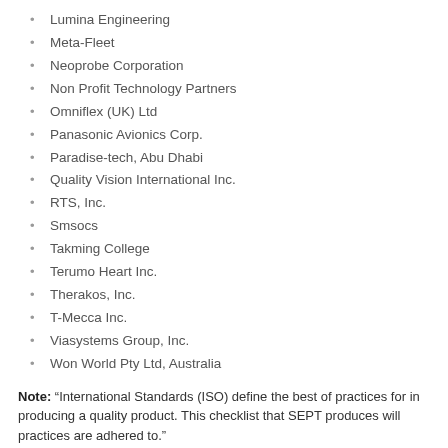Lumina Engineering
Meta-Fleet
Neoprobe Corporation
Non Profit Technology Partners
Omniflex (UK) Ltd
Panasonic Avionics Corp.
Paradise-tech, Abu Dhabi
Quality Vision International Inc.
RTS, Inc.
Smsocs
Takming College
Terumo Heart Inc.
Therakos, Inc.
T-Mecca Inc.
Viasystems Group, Inc.
Won World Pty Ltd, Australia
Note: "International Standards (ISO) define the best of practices for in producing a quality product. This checklist that SEPT produces will practices are adhered to."